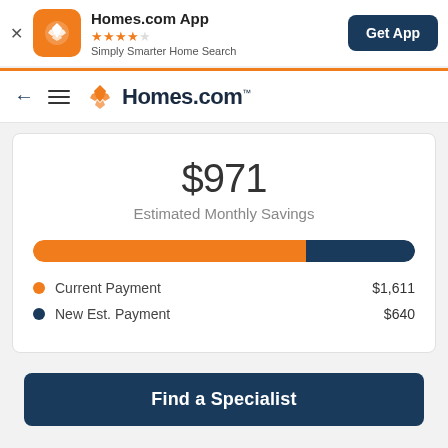[Figure (screenshot): Homes.com app banner with orange icon, star rating, tagline, and Get App button]
[Figure (logo): Homes.com navigation bar with back arrow, hamburger menu, and Homes.com logo]
$971
Estimated Monthly Savings
[Figure (bar-chart): Payment Comparison]
Current Payment  $1,611
New Est. Payment  $640
Find a Specialist